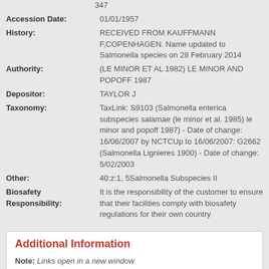347
Accession Date: 01/01/1957
History: RECEIVED FROM KAUFFMANN F,COPENHAGEN. Name updated to Salmonella species on 28 February 2014
Authority: (LE MINOR ET AL 1982) LE MINOR AND POPOFF 1987
Depositor: TAYLOR J
Taxonomy: TaxLink: S9103 (Salmonella enterica subspecies salamae (le minor et al. 1985) le minor and popoff 1987) - Date of change: 16/06/2007 by NCTCUp to 16/06/2007: G2662 (Salmonella Lignieres 1900) - Date of change: 5/02/2003
Other: 40:z:1, 5Salmonella Subspecies II
Biosafety Responsibility: It is the responsibility of the customer to ensure that their facilities comply with biosafety regulations for their own country
Additional Information
Note: Links open in a new window
Product Documents
MSDS for bacterial culture products in freeze-dried format